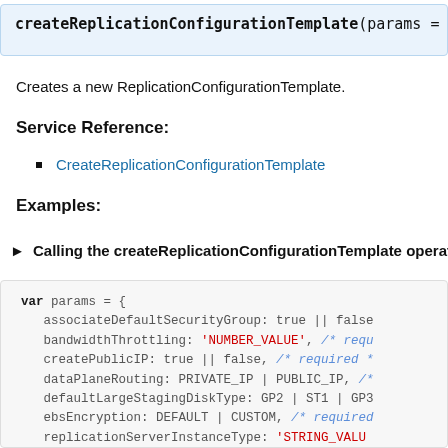[Figure (screenshot): Code block showing function signature: createReplicationConfigurationTemplate(params = {]
Creates a new ReplicationConfigurationTemplate.
Service Reference:
CreateReplicationConfigurationTemplate
Examples:
► Calling the createReplicationConfigurationTemplate operat
[Figure (screenshot): Code block showing var params = { associateDefaultSecurityGroup: true || false, bandwidthThrottling: 'NUMBER_VALUE', /* requ createPublicIP: true || false, /* required * dataPlaneRouting: PRIVATE_IP | PUBLIC_IP, /* defaultLargeStagingDiskType: GP2 | ST1 | GP3 ebsEncryption: DEFAULT | CUSTOM, /* required replicationServerInstanceType: 'STRING_VALUE replicationServersSecurityGroupsIDs: [ /* re 'STRING_VALUE', /* more items */]